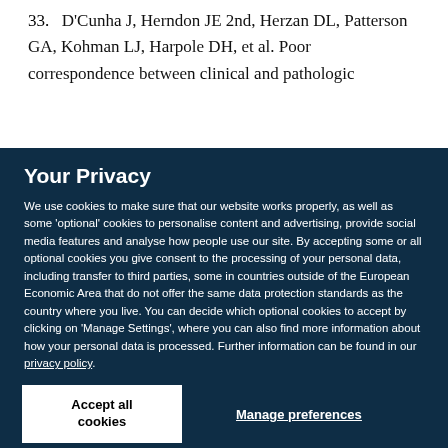33. D'Cunha J, Herndon JE 2nd, Herzan DL, Patterson GA, Kohman LJ, Harpole DH, et al. Poor correspondence between clinical and pathologic
Your Privacy
We use cookies to make sure that our website works properly, as well as some 'optional' cookies to personalise content and advertising, provide social media features and analyse how people use our site. By accepting some or all optional cookies you give consent to the processing of your personal data, including transfer to third parties, some in countries outside of the European Economic Area that do not offer the same data protection standards as the country where you live. You can decide which optional cookies to accept by clicking on 'Manage Settings', where you can also find more information about how your personal data is processed. Further information can be found in our privacy policy.
Accept all cookies
Manage preferences